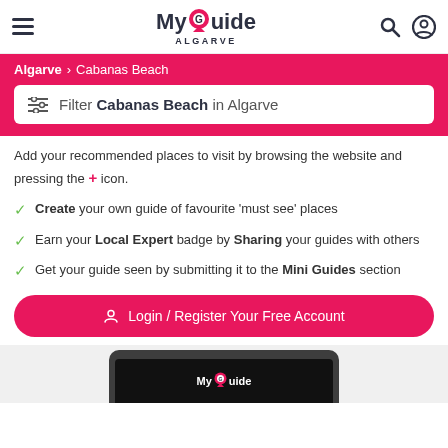MyGuide ALGARVE
Algarve > Cabanas Beach
Filter Cabanas Beach in Algarve
Add your recommended places to visit by browsing the website and pressing the + icon.
Create your own guide of favourite 'must see' places
Earn your Local Expert badge by Sharing your guides with others
Get your guide seen by submitting it to the Mini Guides section
Login / Register Your Free Account
[Figure (screenshot): Bottom portion of a tablet device showing the MyGuide app interface]